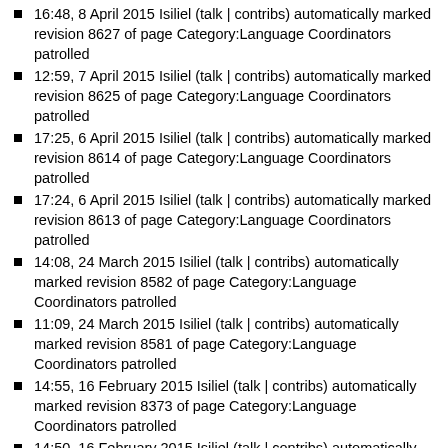16:48, 8 April 2015 Isiliel (talk | contribs) automatically marked revision 8627 of page Category:Language Coordinators patrolled
12:59, 7 April 2015 Isiliel (talk | contribs) automatically marked revision 8625 of page Category:Language Coordinators patrolled
17:25, 6 April 2015 Isiliel (talk | contribs) automatically marked revision 8614 of page Category:Language Coordinators patrolled
17:24, 6 April 2015 Isiliel (talk | contribs) automatically marked revision 8613 of page Category:Language Coordinators patrolled
14:08, 24 March 2015 Isiliel (talk | contribs) automatically marked revision 8582 of page Category:Language Coordinators patrolled
11:09, 24 March 2015 Isiliel (talk | contribs) automatically marked revision 8581 of page Category:Language Coordinators patrolled
14:55, 16 February 2015 Isiliel (talk | contribs) automatically marked revision 8373 of page Category:Language Coordinators patrolled
14:50, 16 February 2015 Isiliel (talk | contribs) automatically marked revision 8372 of page Category:Language Coordinators patrolled
14:57, 4 February 2015 Symbolt (talk | contribs) protected Category:Language Coordinators [edit=sysop] (indefinite)